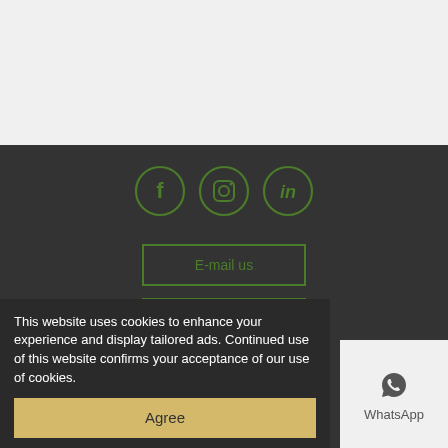[Figure (other): Light gray background top section]
[Figure (other): Social media icons: Facebook, Instagram, LinkedIn in green circle outlines on dark background]
E-mail us
WhatsApp us
This website uses cookies to enhance your experience and display tailored ads. Continued use of this website confirms your acceptance of our use of cookies.
Agree
WhatsApp